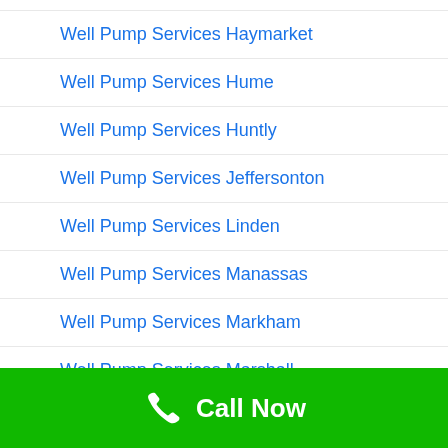Well Pump Services Haymarket
Well Pump Services Hume
Well Pump Services Huntly
Well Pump Services Jeffersonton
Well Pump Services Linden
Well Pump Services Manassas
Well Pump Services Markham
Well Pump Services Marshall
Well Pump Services Middletown
Call Now